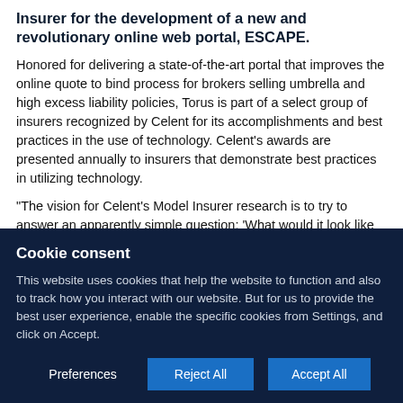Insurer for the development of a new and revolutionary online web portal, ESCAPE.
Honored for delivering a state-of-the-art portal that improves the online quote to bind process for brokers selling umbrella and high excess liability policies, Torus is part of a select group of insurers recognized by Celent for its accomplishments and best practices in the use of technology. Celent's awards are presented annually to insurers that demonstrate best practices in utilizing technology.
“The vision for Celent’s Model Insurer research is to try to answer an apparently simple question: ‘What would it look like for an insurer to do everything right with today’s technology?’” said Karen Monks, an analyst in Celent’s insurance practice. “Torus was chosen for Model Insurer because of the company’s best practices…
Cookie consent
This website uses cookies that help the website to function and also to track how you interact with our website. But for us to provide the best user experience, enable the specific cookies from Settings, and click on Accept.